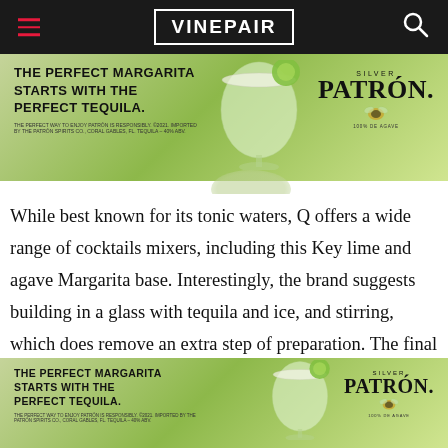VinePair
[Figure (photo): Patrón Silver tequila advertisement banner showing a margarita glass with lime and text 'THE PERFECT MARGARITA STARTS WITH THE PERFECT TEQUILA.' with Patrón Silver logo]
While best known for its tonic waters, Q offers a wide range of cocktails mixers, including this Key lime and agave Margarita base. Interestingly, the brand suggests building in a glass with tequila and ice, and stirring, which does remove an extra step of preparation. The final cocktail shows great balance, though the lime does err slightly on the artific
[Figure (photo): Second Patrón Silver tequila advertisement banner showing a margarita glass with lime and text 'THE PERFECT MARGARITA STARTS WITH THE PERFECT TEQUILA.' with Patrón Silver logo]